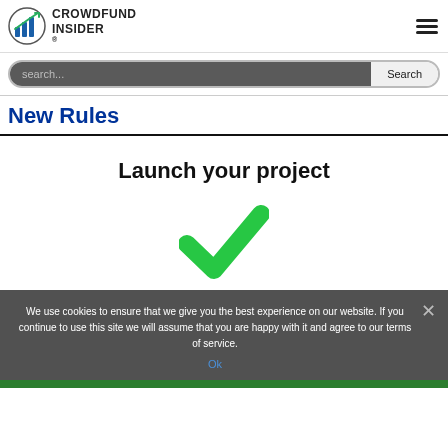CROWDFUND INSIDER
search...
New Rules
[Figure (illustration): Kickstarter-style 'Launch your project' promotional image with bold text 'Launch your project' and a large green checkmark icon below it]
We use cookies to ensure that we give you the best experience on our website. If you continue to use this site we will assume that you are happy with it and agree to our terms of service.
Ok